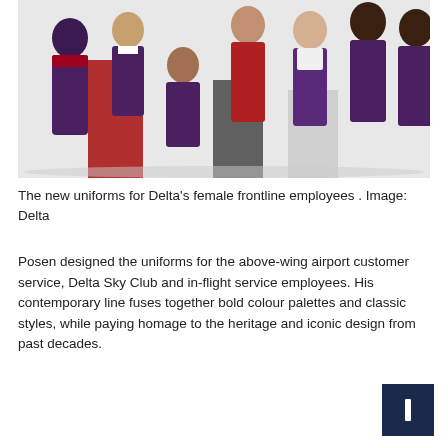[Figure (photo): Group photo of Delta Air Lines female frontline employees in new purple and red uniforms, posed against a white background with red and grey geometric props.]
The new uniforms for Delta's female frontline employees . Image: Delta
Posen designed the uniforms for the above-wing airport customer service, Delta Sky Club and in-flight service employees. His contemporary line fuses together bold colour palettes and classic styles, while paying homage to the heritage and iconic design from past decades.